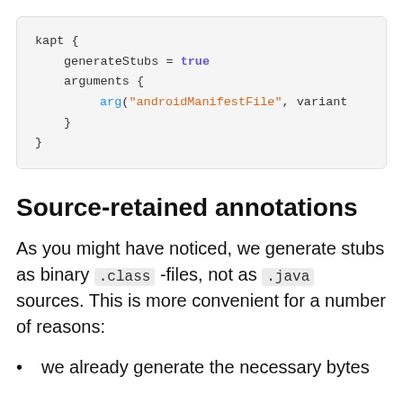[Figure (other): Code block showing kapt configuration with generateStubs = true and arguments block containing arg("androidManifestFile", variant]
Source-retained annotations
As you might have noticed, we generate stubs as binary .class -files, not as .java sources. This is more convenient for a number of reasons:
we already generate the necessary bytes